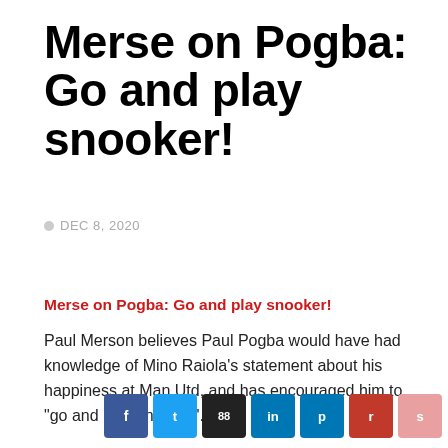Merse on Pogba: Go and play snooker!
DEC 8, 2020
Merse on Pogba: Go and play snooker!
Paul Merson believes Paul Pogba would have had knowledge of Mino Raiola’s statement about his happiness at Man Utd, and has encouraged him to “go and play snooker”.